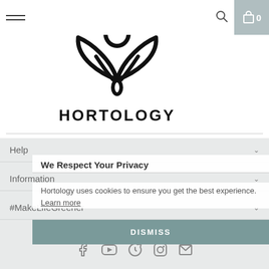[Figure (logo): Hortology logo: three stylized leaves/petals with a teardrop center, and text HORTOLOGY below in bold sans-serif]
Help
We Respect Your Privacy
Information
Hortology uses cookies to ensure you get the best experience. Learn more
#MakeLifeGreener
DISMISS
[Figure (other): Social media icons row: Facebook, YouTube (play button), Pinterest, Instagram, Email]